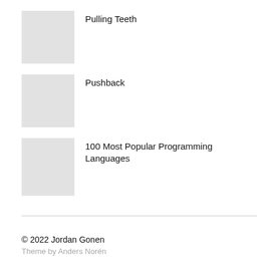Pulling Teeth
Pushback
100 Most Popular Programming Languages
© 2022 Jordan Gonen
Theme by Anders Norén